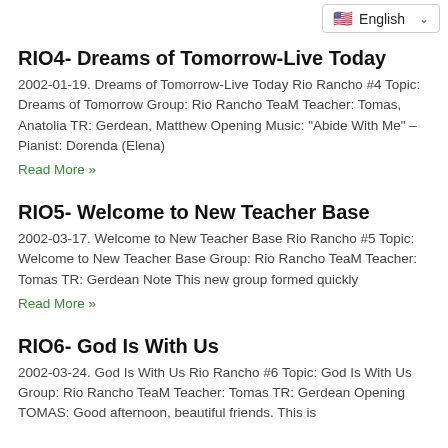English
RIO4- Dreams of Tomorrow-Live Today
2002-01-19.  Dreams of Tomorrow-Live Today Rio Rancho #4 Topic: Dreams of Tomorrow Group: Rio Rancho TeaM Teacher: Tomas, Anatolia TR: Gerdean, Matthew Opening Music: "Abide With Me" – Pianist: Dorenda (Elena)
Read More »
RIO5- Welcome to New Teacher Base
2002-03-17.  Welcome to New Teacher Base Rio Rancho #5 Topic: Welcome to New Teacher Base Group: Rio Rancho TeaM Teacher: Tomas TR: Gerdean Note This new group formed quickly
Read More »
RIO6- God Is With Us
2002-03-24.  God Is With Us Rio Rancho #6 Topic: God Is With Us Group: Rio Rancho TeaM Teacher: Tomas TR: Gerdean Opening TOMAS: Good afternoon, beautiful friends. This is